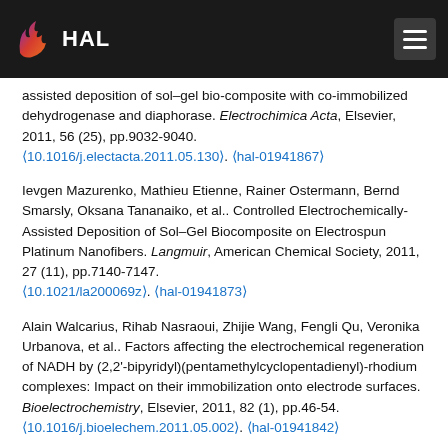HAL
assisted deposition of sol–gel bio-composite with co-immobilized dehydrogenase and diaphorase. Electrochimica Acta, Elsevier, 2011, 56 (25), pp.9032-9040. ⟨10.1016/j.electacta.2011.05.130⟩. ⟨hal-01941867⟩
Ievgen Mazurenko, Mathieu Etienne, Rainer Ostermann, Bernd Smarsly, Oksana Tananaiko, et al.. Controlled Electrochemically-Assisted Deposition of Sol–Gel Biocomposite on Electrospun Platinum Nanofibers. Langmuir, American Chemical Society, 2011, 27 (11), pp.7140-7147. ⟨10.1021/la200069z⟩. ⟨hal-01941873⟩
Alain Walcarius, Rihab Nasraoui, Zhijie Wang, Fengli Qu, Veronika Urbanova, et al.. Factors affecting the electrochemical regeneration of NADH by (2,2'-bipyridyl)(pentamethylcyclopentadienyl)-rhodium complexes: Impact on their immobilization onto electrode surfaces. Bioelectrochemistry, Elsevier, 2011, 82 (1), pp.46-54. ⟨10.1016/j.bioelechem.2011.05.002⟩. ⟨hal-01941842⟩
Yémima Bon Saint Côme, Hélène Lalo, Zhijie Wang, Mathieu